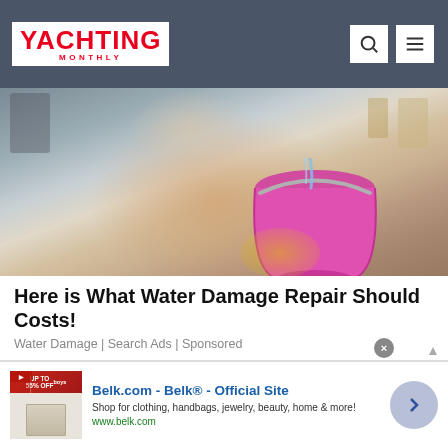YACHTING MONTHLY
[Figure (photo): Woman holding a pink bucket catching water from a ceiling leak, wearing yellow rubber gloves, kitchen background]
Here is What Water Damage Repair Should Costs!
Water Damage | Search Ads | Sponsored
[Figure (photo): Wide landscape photo with blue sky with light clouds and golden/brown rolling hills at the bottom]
[Figure (screenshot): Belk.com advertisement: Belk® - Official Site. Shop for clothing, handbags, jewelry, beauty, home & more! www.belk.com]